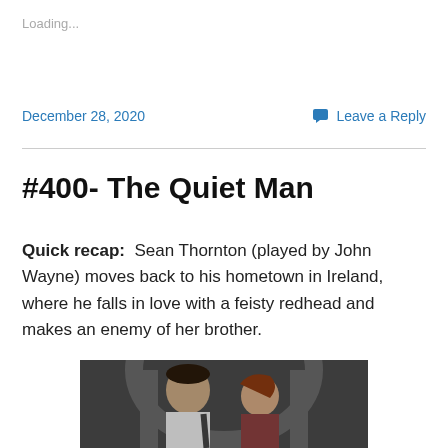Loading...
December 28, 2020    Leave a Reply
#400- The Quiet Man
Quick recap:  Sean Thornton (played by John Wayne) moves back to his hometown in Ireland, where he falls in love with a feisty redhead and makes an enemy of her brother.
[Figure (photo): A romantic scene from The Quiet Man showing a man and woman facing each other closely, set against a stone archway backdrop.]